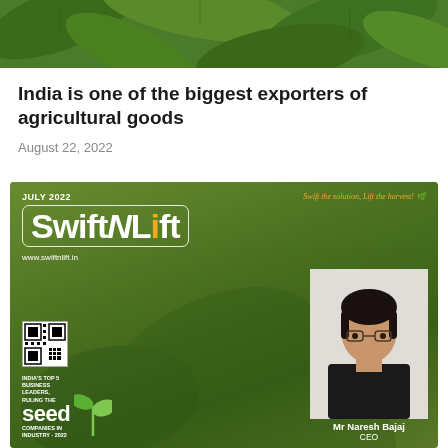[Figure (photo): Close-up photo of green tropical leaves, serving as a banner image at the top of the page]
India is one of the biggest exporters of agricultural goods
August 22, 2022
[Figure (photo): Magazine cover of SwiftNLift July 2022 issue on dark green background. Features the magazine logo 'SwiftNLift', website www.swiftnlift.in, a QR code, a badge reading 'INDIA'S TOP 5 BUSINESS LEADERS, RULING THE SEED COMPANIES IN INDUSTRY - 2022', and a portrait photo of Mr Naresh Bajaj, CEO on the right side.]